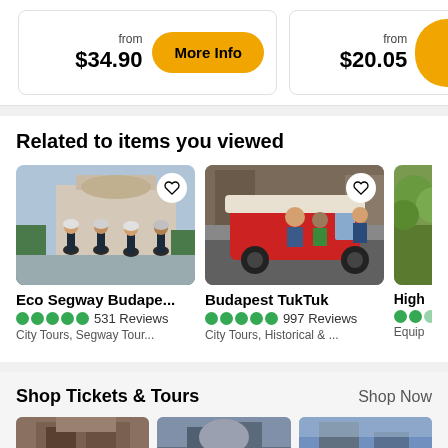from $34.90
More Info
from $20.05
Related to items you viewed
[Figure (photo): Group of people on segways wearing helmets in front of a historic building]
[Figure (photo): People riding in a red tuk-tuk vehicle on a city street]
[Figure (photo): Partial view of a forested or park area]
Eco Segway Budape...
531 Reviews
City Tours, Segway Tour...
Budapest TukTuk
997 Reviews
City Tours, Historical & ...
High
Equip
Shop Tickets & Tours
Shop Now
[Figure (photo): Historic building facade]
[Figure (photo): City skyline or landmark]
[Figure (photo): Outdoor scene with sky]